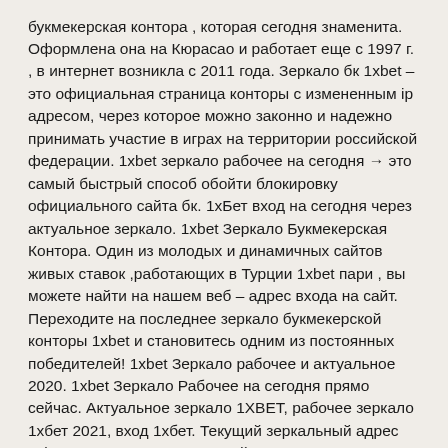букмекерская контора , которая сегодня знаменита. Оформлена она на Кюрасао и работает еще с 1997 г. , в интернет возникла с 2011 года. Зеркало бк 1xbet – это официальная страница конторы с измененным ip адресом, через которое можно законно и надежно принимать участие в играх на территории российской федерации. 1xbet зеркало рабочее на сегодня → это самый быстрый способ обойти блокировку официального сайта бк. 1хБет вход на сегодня через актуальное зеркало. 1xbet Зеркало Букмекерская Контора. Один из молодых и динамичных сайтов живых ставок ,работающих в Турции 1xbet пари , вы можете найти на нашем веб – адрес входа на сайт. Переходите на последнее зеркало букмекерской конторы 1xbet и становитесь одним из постоянных победителей! 1xbet Зеркало рабочее и актуальное 2020. 1xbet Зеркало Рабочее на сегодня прямо сейчас. Актуальное зеркало 1XBET, рабочее зеркало 1хбет 2021, вход 1хбет. Текущий зеркальный адрес 1xbet находится на нашем сайте. 1хБет — букмекерская контора, созданная в 2007 году и уже в